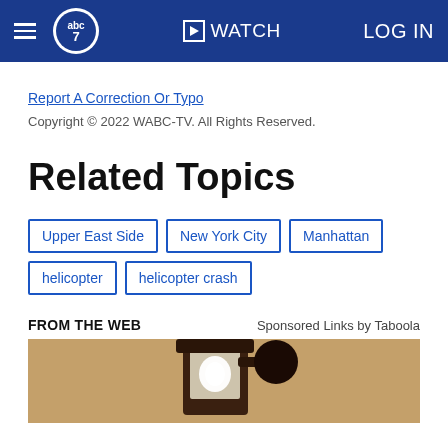abc7 WATCH LOG IN
Report A Correction Or Typo
Copyright © 2022 WABC-TV. All Rights Reserved.
Related Topics
Upper East Side
New York City
Manhattan
helicopter
helicopter crash
FROM THE WEB
Sponsored Links by Taboola
[Figure (photo): Outdoor wall-mounted lantern light fixture with frosted glass and dark metal frame on a textured beige stucco wall]